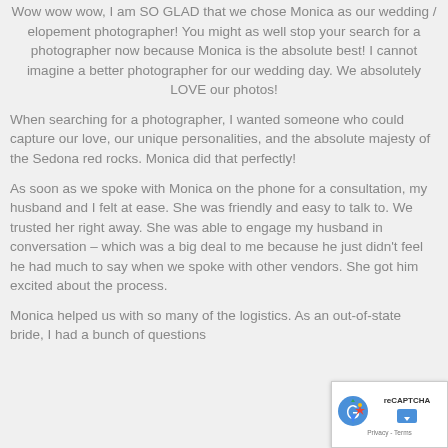Wow wow wow, I am SO GLAD that we chose Monica as our wedding / elopement photographer! You might as well stop your search for a photographer now because Monica is the absolute best! I cannot imagine a better photographer for our wedding day. We absolutely LOVE our photos!
When searching for a photographer, I wanted someone who could capture our love, our unique personalities, and the absolute majesty of the Sedona red rocks. Monica did that perfectly!
As soon as we spoke with Monica on the phone for a consultation, my husband and I felt at ease. She was friendly and easy to talk to. We trusted her right away. She was able to engage my husband in conversation – which was a big deal to me because he just didn't feel he had much to say when we spoke with other vendors. She got him excited about the process.
Monica helped us with so many of the logistics. As an out-of-state bride, I had a bunch of questions
[Figure (other): reCAPTCHA badge with logo, up arrow icon, and Privacy - Terms links]